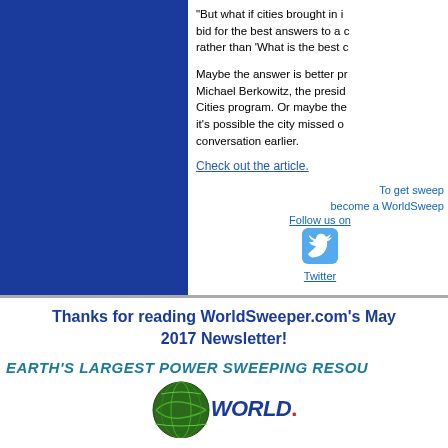[Figure (other): Blue rectangle image placeholder on the left side of the top section]
"But what if cities brought in i... bid for the best answers to a c... rather than 'What is the best c...
Maybe the answer is better p... Michael Berkowitz, the presid... Cities program. Or maybe the... it's possible the city missed o... conversation earlier.
Check out the article.
To get sweep... become a WorldSweep...
Follow us on
[Figure (logo): Twitter bird logo icon in light blue]
Twitter
Thanks for reading WorldSweeper.com's May 2017 Newsletter!
EARTH'S LARGEST  POWER SWEEPING RESOU...
[Figure (logo): WorldSweeper globe and text logo at bottom]